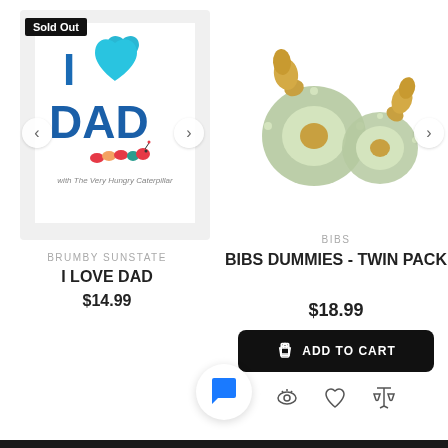[Figure (photo): Book cover: I Love Dad with The Very Hungry Caterpillar - white background with blue text 'I', blue heart, blue text 'DAD', and caterpillar illustration]
Sold Out
BRUMBY SUNSTATE
I LOVE DAD
$14.99
[Figure (photo): Two green pacifiers/dummies (BIBS brand) - one with yellow nipple facing forward, one facing sideways]
BIBS
BIBS DUMMIES - TWIN PACK
$18.99
ADD TO CART